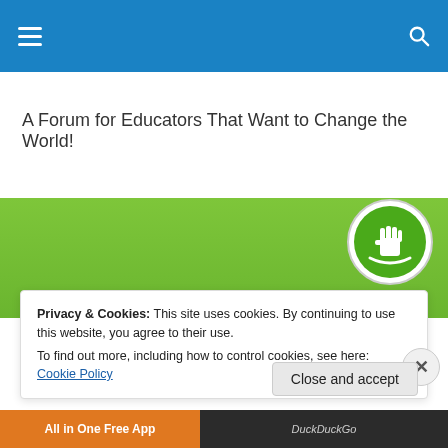Navigation bar with hamburger menu and search icon
A Forum for Educators That Want to Change the World!
[Figure (logo): Green banner with a circular logo showing a raised fist in green and white on the right side]
Privacy & Cookies: This site uses cookies. By continuing to use this website, you agree to their use.
To find out more, including how to control cookies, see here: Cookie Policy
Close and accept
[Figure (screenshot): Bottom ad bar with orange 'All in One Free App' section and dark DuckDuckGo section]